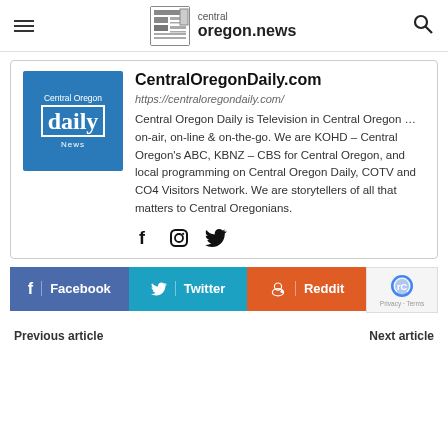central oregon.news
[Figure (logo): Central Oregon Daily News blue logo square]
CentralOregonDaily.com
https://centraloregondaily.com/
Central Oregon Daily is Television in Central Oregon … on-air, on-line & on-the-go. We are KOHD – Central Oregon's ABC, KBNZ – CBS for Central Oregon, and local programming on Central Oregon Daily, COTV and CO4 Visitors Network. We are storytellers of all that matters to Central Oregonians.
[Figure (infographic): Social media icons: Facebook, Instagram, Twitter]
[Figure (infographic): Share buttons: Facebook, Twitter, Reddit, reCAPTCHA badge]
Previous article   Next article